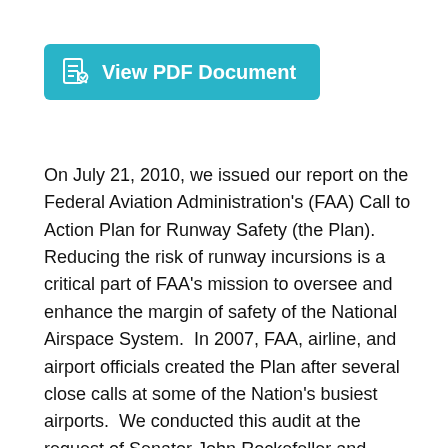[Figure (other): A teal/cyan rounded rectangle button labeled 'View PDF Document' with a PDF file icon on the left]
On July 21, 2010, we issued our report on the Federal Aviation Administration's (FAA) Call to Action Plan for Runway Safety (the Plan).  Reducing the risk of runway incursions is a critical part of FAA's mission to oversee and enhance the margin of safety of the National Airspace System.  In 2007, FAA, airline, and airport officials created the Plan after several close calls at some of the Nation's busiest airports.  We conducted this audit at the request of Senator John Rockefeller and Senator Kay Bailey Hutchison of the Senate Commerce, Science, and Transportation Committee, who asked that we review the current state of aviation safety, including a focus on runway safety issues.  Our audit objective was to evaluate the effectiveness of actions taken as a result of FAA's Call to Action Plan for improving runway safety.